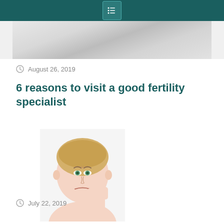Menu icon header bar
[Figure (photo): Top portion of a photo showing a glass of water and clinical/kitchen surface, partially cropped]
August 26, 2019
6 reasons to visit a good fertility specialist
[Figure (photo): A young blonde woman with a worried or anxious expression, touching her cheek with her hand, on a white background]
July 22, 2019